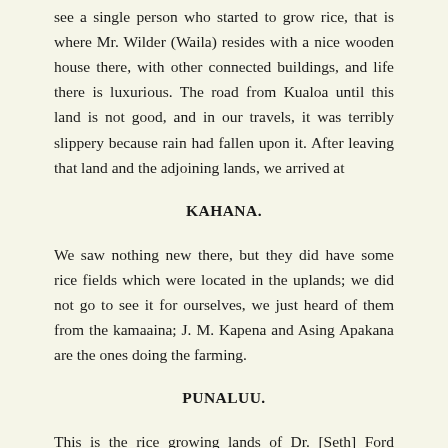see a single person who started to grow rice, that is where Mr. Wilder (Waila) resides with a nice wooden house there, with other connected buildings, and life there is luxurious. The road from Kualoa until this land is not good, and in our travels, it was terribly slippery because rain had fallen upon it. After leaving that land and the adjoining lands, we arrived at
KAHANA.
We saw nothing new there, but they did have some rice fields which were located in the uplands; we did not go to see it for ourselves, we just heard of them from the kamaaina; J. M. Kapena and Asing Apakana are the ones doing the farming.
PUNALUU.
This is the rice growing lands of Dr. [Seth] Ford (Kauka Poka) them; they built a wooden house for